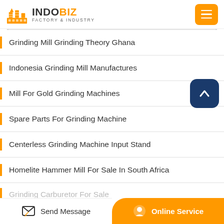INDOBIZ FACTORY & INDUSTRY
Grinding Mill Grinding Theory Ghana
Indonesia Grinding Mill Manufactures
Mill For Gold Grinding Machines
Spare Parts For Grinding Machine
Centerless Grinding Machine Input Stand
Homelite Hammer Mill For Sale In South Africa
Send Message | Online Service